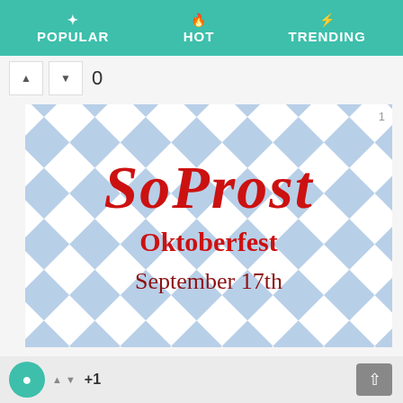POPULAR  HOT  TRENDING
0
[Figure (illustration): SoProst Oktoberfest logo on a Bavarian blue and white diamond checkered flag background. Text reads 'SoProst' in red Gothic/blackletter font, 'Oktoberfest' in red serif font, and 'September 17th' in dark red serif font.]
18 Views  1 Vote  Arts / Culture
SoProst Oktoberfest
+1